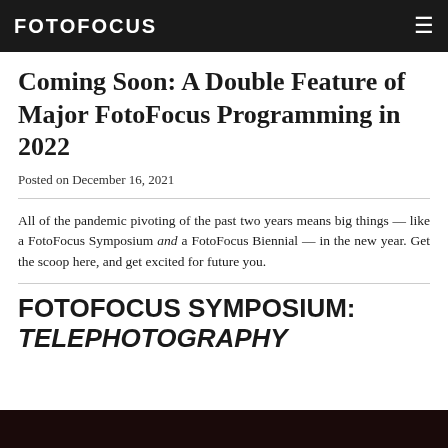FOTOFOCUS
Coming Soon: A Double Feature of Major FotoFocus Programming in 2022
Posted on December 16, 2021
All of the pandemic pivoting of the past two years means big things — like a FotoFocus Symposium and a FotoFocus Biennial — in the new year. Get the scoop here, and get excited for future you.
FOTOFOCUS SYMPOSIUM: TELEPHOTOGRAPHY
[Figure (photo): Dark photographic image strip at bottom of page]